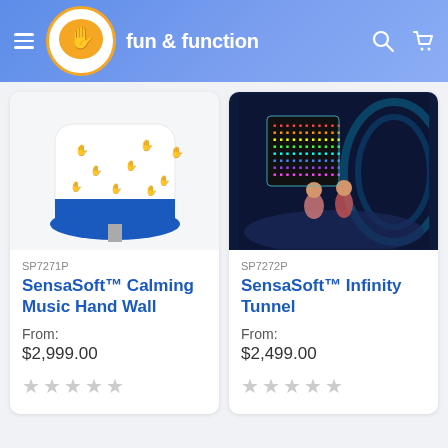fun & function
[Figure (photo): SensaSoft Calming Music Hand Wall product — white rounded board with colorful handprint decorations on a blue base]
SP7271P
SensaSoft™ Calming Music Hand Wall
From:
$2,999.00
[Figure (photo): Two children sitting in a sensory room with glowing infinity mirror panel showing rainbow LED lights, blue ambient lighting]
SP7272P
SensaSoft™ Infinity Tunnel
From:
$2,499.00